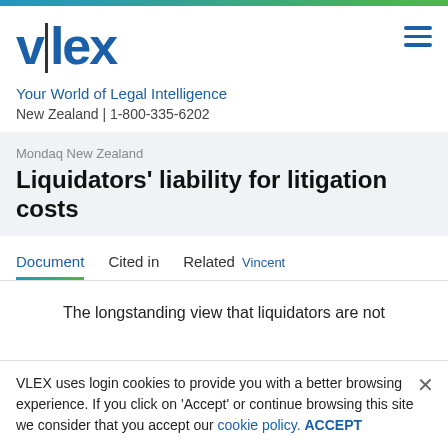[Figure (logo): vlex logo with vertical bar divider and hamburger menu icon]
Your World of Legal Intelligence
New Zealand | 1-800-335-6202
Mondaq New Zealand
Liquidators' liability for litigation costs
Document   Cited in   Related Vincent
The longstanding view that liquidators are not
VLEX uses login cookies to provide you with a better browsing experience. If you click on 'Accept' or continue browsing this site we consider that you accept our cookie policy. ACCEPT